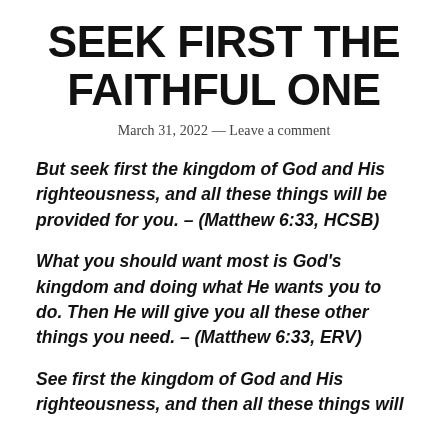SEEK FIRST THE FAITHFUL ONE
March 31, 2022 — Leave a comment
But seek first the kingdom of God and His righteousness, and all these things will be provided for you. – (Matthew 6:33, HCSB)
What you should want most is God's kingdom and doing what He wants you to do. Then He will give you all these other things you need. – (Matthew 6:33, ERV)
See first the kingdom of God and His righteousness, and then all these things will